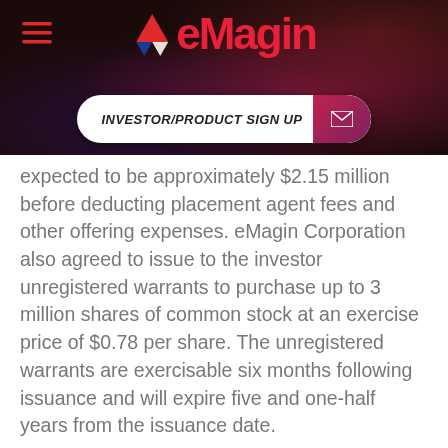[Figure (logo): eMagin Corporation logo with triangular icon and red text, on dark background with colorful glow]
[Figure (other): INVESTOR/PRODUCT SIGN UP button with envelope icon on dark background]
expected to be approximately $2.15 million before deducting placement agent fees and other offering expenses. eMagin Corporation also agreed to issue to the investor unregistered warrants to purchase up to 3 million shares of common stock at an exercise price of $0.78 per share. The unregistered warrants are exercisable six months following issuance and will expire five and one-half years from the issuance date.
The Company intends to use the net proceeds for working capital and other general corporate purposes.